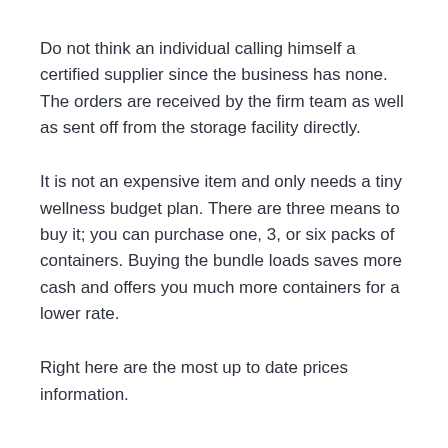Do not think an individual calling himself a certified supplier since the business has none. The orders are received by the firm team as well as sent off from the storage facility directly.
It is not an expensive item and only needs a tiny wellness budget plan. There are three means to buy it; you can purchase one, 3, or six packs of containers. Buying the bundle loads saves more cash and offers you much more containers for a lower rate.
Right here are the most up to date prices information.